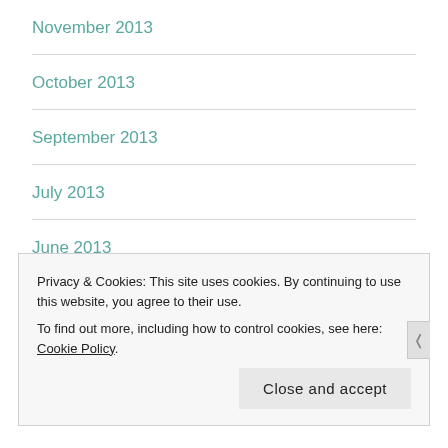November 2013
October 2013
September 2013
July 2013
June 2013
May 2013
February 2013
Privacy & Cookies: This site uses cookies. By continuing to use this website, you agree to their use.
To find out more, including how to control cookies, see here: Cookie Policy
Close and accept